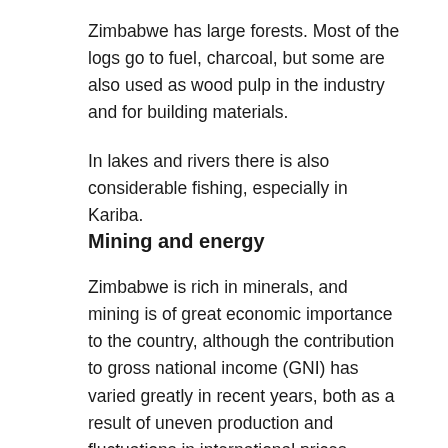Zimbabwe has large forests. Most of the logs go to fuel, charcoal, but some are also used as wood pulp in the industry and for building materials.
In lakes and rivers there is also considerable fishing, especially in Kariba.
Mining and energy
Zimbabwe is rich in minerals, and mining is of great economic importance to the country, although the contribution to gross national income (GNI) has varied greatly in recent years, both as a result of uneven production and fluctuations in international prices. Among the approximately 40 different minerals that are mined, gold has the greatest value, and in some years has accounted for about half of the country's export value. Zimbabwe opened its own gold refinery in 1989. In the